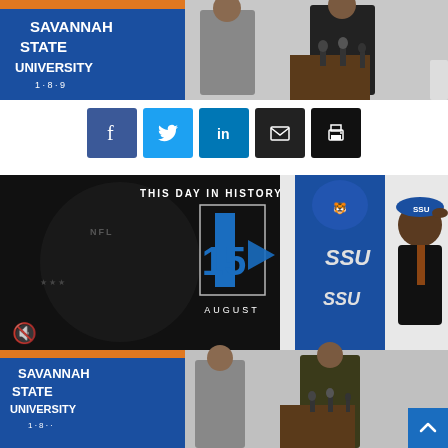[Figure (photo): Two men in suits standing at a podium with Savannah State University banner in background, press conference setting with microphones]
[Figure (infographic): Row of five social media and sharing buttons: Facebook (blue), Twitter (cyan), LinkedIn (dark blue), Email (black), Print (black)]
[Figure (photo): Composite image: left half shows NFL 'This Day in History' video thumbnail with number 15 and text AUGUST overlay; right half shows a young man wearing an SSU (Savannah State University) cap at what appears to be a signing event, with SSU banner visible in background. Bottom portion shows same Savannah State University press conference scene repeated.]